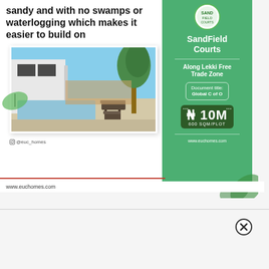sandy and with no swamps or waterlogging which makes it easier to build on
[Figure (photo): Outdoor pool area with lounge chairs and tropical landscaping next to a modern house]
@euc_homes
www.euchomes.com
SandField Courts
Along Lekki Free Trade Zone
Document title: Global C of O
₦ 10M
600 SQM/PLOT
www.euchomes.com
[Figure (logo): SandField Courts circular logo with green and white]
[Figure (illustration): Green leaf decorations on right panel]
[Figure (other): Close/dismiss button circle with X]